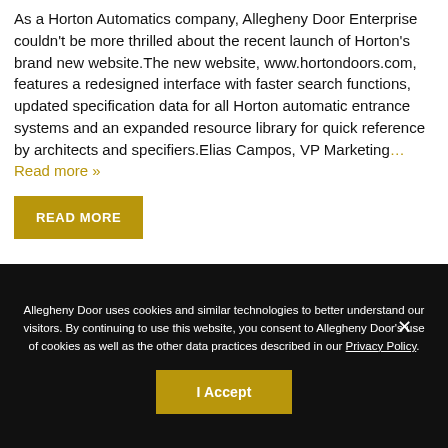As a Horton Automatics company, Allegheny Door Enterprise couldn't be more thrilled about the recent launch of Horton's brand new website.The new website, www.hortondoors.com, features a redesigned interface with faster search functions, updated specification data for all Horton automatic entrance systems and an expanded resource library for quick reference by architects and specifiers.Elias Campos, VP Marketing… Read more »
READ MORE
Allegheny Door uses cookies and similar technologies to better understand our visitors. By continuing to use this website, you consent to Allegheny Door's use of cookies as well as the other data practices described in our Privacy Policy.
I Accept